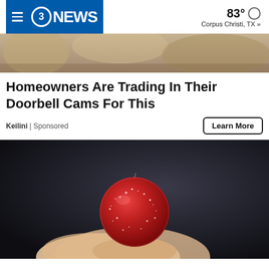3NEWS | 83° Corpus Christi, TX »
[Figure (photo): Partial top image showing a blurred background object, cropped at top of page]
Homeowners Are Trading In Their Doorbell Cams For This
Keilini | Sponsored
Learn More
[Figure (photo): Close-up photo of a hand holding a small red sugar-coated gummy candy against a dark background]